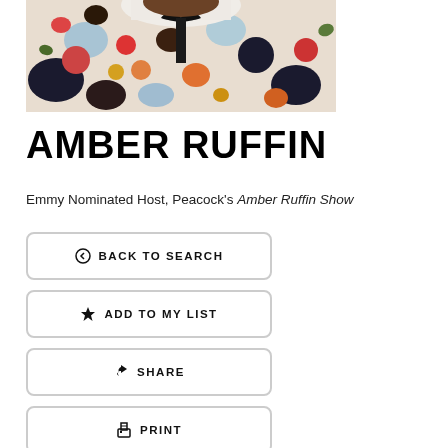[Figure (photo): Cropped photo of Amber Ruffin wearing a colorful floral blouse with white collar and black bow tie]
AMBER RUFFIN
Emmy Nominated Host, Peacock's Amber Ruffin Show
BACK TO SEARCH
ADD TO MY LIST
SHARE
PRINT